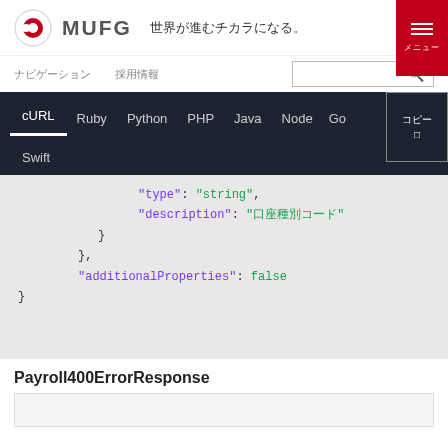MUFG 世界が進むチカラになる。
ナビゲーション　採用情報
[Figure (screenshot): Code editor tab bar showing: cURL (active/underlined), Ruby, Python, PHP, Java, Node, Go, Swift, with a button box on the right]
"type": "string",
"description": "口座種別コード"
}
},
"additionalProperties": false
}
Payroll400ErrorResponse